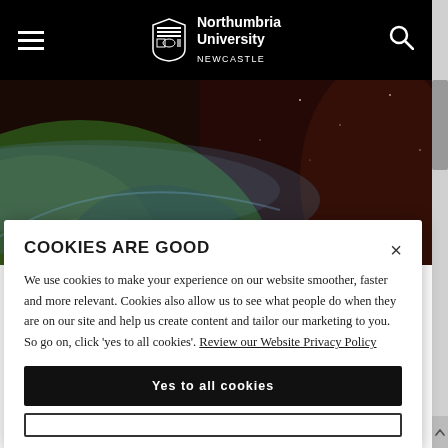Northumbria University NEWCASTLE
[Figure (photo): Aerial photograph of Earth from space showing landmasses, clouds and dark space background]
COOKIES ARE GOOD
We use cookies to make your experience on our website smoother, faster and more relevant. Cookies also allow us to see what people do when they are on our site and help us create content and tailor our marketing to you. So go on, click 'yes to all cookies'. Review our Website Privacy Policy